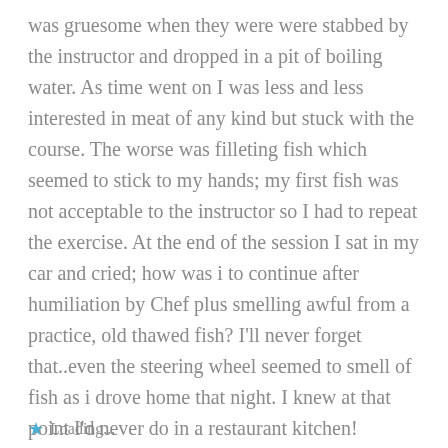was gruesome when they were were stabbed by the instructor and dropped in a pit of boiling water. As time went on I was less and less interested in meat of any kind but stuck with the course. The worse was filleting fish which seemed to stick to my hands; my first fish was not acceptable to the instructor so I had to repeat the exercise. At the end of the session I sat in my car and cried; how was i to continue after humiliation by Chef plus smelling awful from a practice, old thawed fish? I'll never forget that..even the steering wheel seemed to smell of fish as i drove home that night. I knew at that point I'd never do in a restaurant kitchen!
Loading...